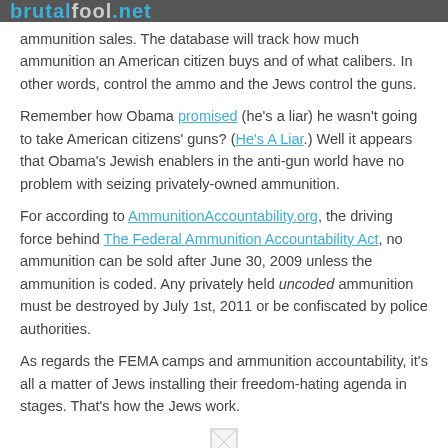brutalfool.net
ammunition sales. The database will track how much ammunition an American citizen buys and of what calibers. In other words, control the ammo and the Jews control the guns.
Remember how Obama promised (he's a liar) he wasn't going to take American citizens' guns? (He's A Liar.) Well it appears that Obama's Jewish enablers in the anti-gun world have no problem with seizing privately-owned ammunition.
For according to AmmunitionAccountability.org, the driving force behind The Federal Ammunition Accountability Act, no ammunition can be sold after June 30, 2009 unless the ammunition is coded. Any privately held uncoded ammunition must be destroyed by July 1st, 2011 or be confiscated by police authorities.
As regards the FEMA camps and ammunition accountability, it's all a matter of Jews installing their freedom-hating agenda in stages. That's how the Jews work.
[Figure (other): Broken image icon at bottom center of page]